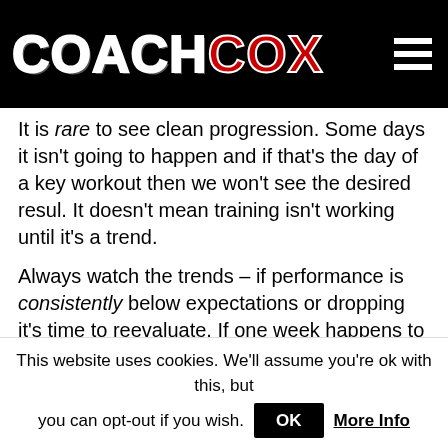COACH COX
It is rare to see clean progression. Some days it isn't going to happen and if that's the day of a key workout then we won't see the desired resul. It doesn't mean training isn't working until it's a trend.
Always watch the trends – if performance is consistently below expectations or dropping it's time to reevaluate. If one week happens to feel harder or fall short put it aside and get on with the work that's needed; come back better prepared.
Ironman Training
This website uses cookies. We'll assume you're ok with this, but you can opt-out if you wish.